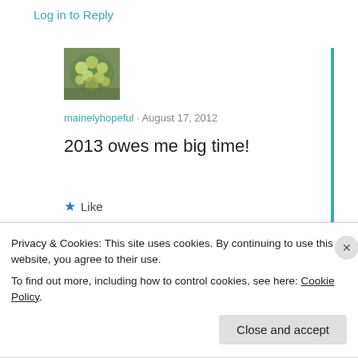Log in to Reply
[Figure (photo): Avatar image of user mainelyhopeful showing green flowers/plant]
mainelyhopeful · August 17, 2012
2013 owes me big time!
★ Like
Log in to Reply
Privacy & Cookies: This site uses cookies. By continuing to use this website, you agree to their use.
To find out more, including how to control cookies, see here: Cookie Policy